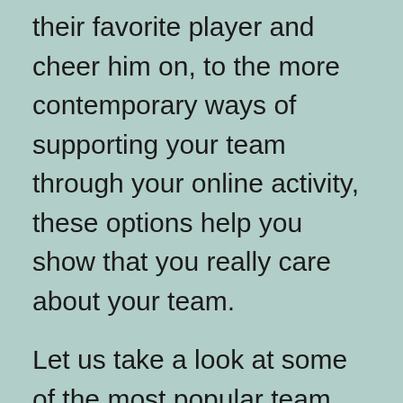their favorite player and cheer him on, to the more contemporary ways of supporting your team through your online activity, these options help you show that you really care about your team.
Let us take a look at some of the most popular team products on the market today.
Sell Products
As a player, you will want to sell your products well. ■■■■■■ Giving demonstrations in malls and commercially-linked places helps you create